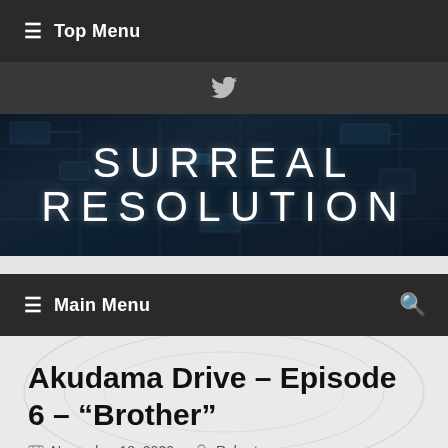≡ Top Menu
[Figure (screenshot): Twitter bird icon in social bar on dark background]
[Figure (screenshot): Surreal Resolution website banner with circuit board background and large white text reading SURREAL RESOLUTION]
≡ Main Menu 🔍
Akudama Drive – Episode 6 – "Brother"
November 18, 2020  Robert